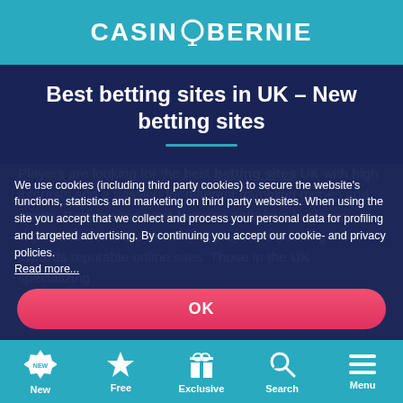CASINOBERNIE
Best betting sites in UK – New betting sites
Players are looking for the best betting sites UK with high interests and a passion for different gambling games and sports. Betting sites have become notorious in player exploitation, and the security of players is pushing them towards reputable online sites. Those in the UK specializing
We use cookies (including third party cookies) to secure the website's functions, statistics and marketing on third party websites. When using the site you accept that we collect and process your personal data for profiling and targeted advertising. By continuing you accept our cookie- and privacy policies. Read more...
OK
New  Free  Exclusive  Search  Menu